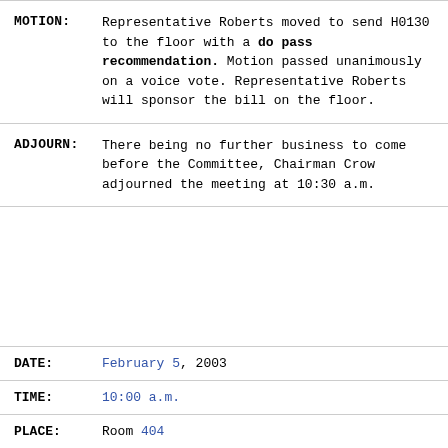MOTION: Representative Roberts moved to send H0130 to the floor with a do pass recommendation. Motion passed unanimously on a voice vote. Representative Roberts will sponsor the bill on the floor.
ADJOURN: There being no further business to come before the Committee, Chairman Crow adjourned the meeting at 10:30 a.m.
DATE: February 5, 2003
TIME: 10:00 a.m.
PLACE: Room 404